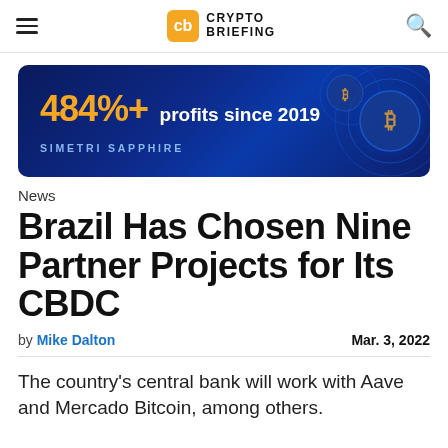Crypto Briefing
[Figure (infographic): Advertisement banner for Simetri Sapphire showing '484%+ profits since 2019' in orange and white text on a dark blue background with glowing crypto coin graphics]
News
Brazil Has Chosen Nine Partner Projects for Its CBDC
by Mike Dalton   Mar. 3, 2022
The country's central bank will work with Aave and Mercado Bitcoin, among others.